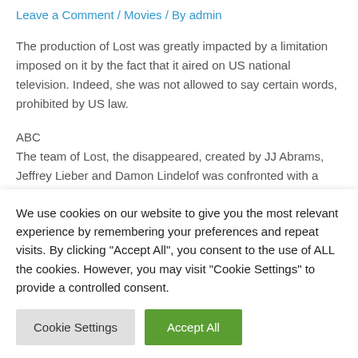Leave a Comment / Movies / By admin
The production of Lost was greatly impacted by a limitation imposed on it by the fact that it aired on US national television. Indeed, she was not allowed to say certain words, prohibited by US law.
ABC
The team of Lost, the disappeared, created by JJ Abrams, Jeffrey Lieber and Damon Lindelof was confronted with a reality imposed by the TV channel which broadcast them and which weighed on
We use cookies on our website to give you the most relevant experience by remembering your preferences and repeat visits. By clicking "Accept All", you consent to the use of ALL the cookies. However, you may visit "Cookie Settings" to provide a controlled consent.